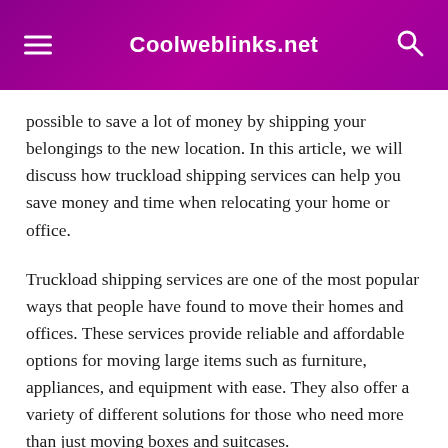Coolweblinks.net
possible to save a lot of money by shipping your belongings to the new location. In this article, we will discuss how truckload shipping services can help you save money and time when relocating your home or office.
Truckload shipping services are one of the most popular ways that people have found to move their homes and offices. These services provide reliable and affordable options for moving large items such as furniture, appliances, and equipment with ease. They also offer a variety of different solutions for those who need more than just moving boxes and suitcases.